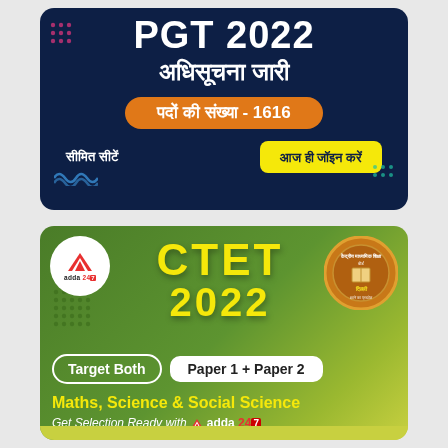[Figure (infographic): NVS TGT/PGT 2022 exam notification advertisement on dark navy background. Shows Hindi text 'अधिसूचना जारी' (Notification Issued), orange pill badge with 'पदों की संख्या - 1616' (Number of posts - 1616), and yellow 'आज ही जॉइन करें' (Join Today) button with 'सीमित सीटें' (Limited Seats) text.]
[Figure (infographic): CTET 2022 advertisement on olive/green gradient background. Features adda247 logo, CTET 2022 in yellow bold text, CBSE seal, 'Target Both Paper 1 + Paper 2' badge, 'Maths, Science & Social Science' in yellow, and 'Get Selection Ready with adda 247' tagline.]